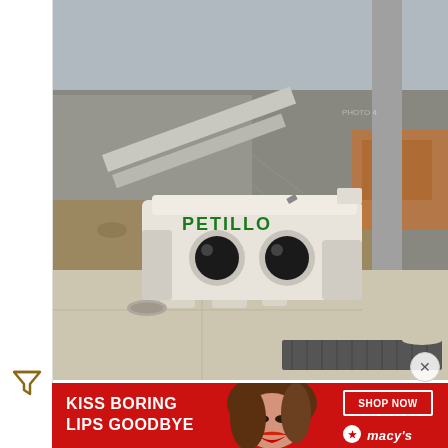[Figure (photo): Street-level photo of a white plastic 'PETILLO' branded construction water-filled barrier/bollard sitting on a sidewalk in front of a chain-link fence surrounding a construction site. A utility pole is visible to the right. The barrier has two round holes and the green text 'PETILLO' on its face.]
[Figure (logo): Gold/amber funnel/filter icon in the left sidebar area]
[Figure (photo): Advertisement banner: red background with white bold text reading 'KISS BORING LIPS GOODBYE'. A woman's face with red lips is shown. On the right side is a white-bordered box with 'SHOP NOW' in white text, and the Macy's logo with a star below it.]